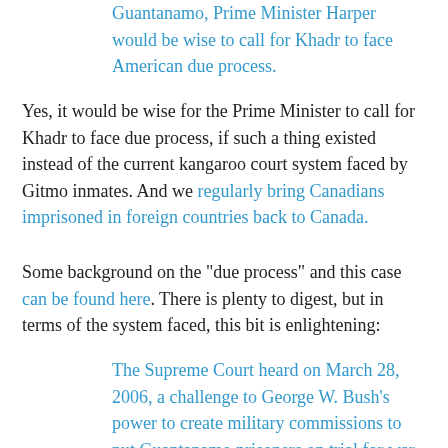Guantanamo, Prime Minister Harper would be wise to call for Khadr to face American due process.
Yes, it would be wise for the Prime Minister to call for Khadr to face due process, if such a thing existed instead of the current kangaroo court system faced by Gitmo inmates. And we regularly bring Canadians imprisoned in foreign countries back to Canada.
Some background on the "due process" and this case can be found here. There is plenty to digest, but in terms of the system faced, this bit is enlightening:
The Supreme Court heard on March 28, 2006, a challenge to George W. Bush's power to create military commissions to put Guantanamo prisoners on trial for war crimes (cf. the profile of Salim Ahmed Hamdan in "related cases"). On June 29, 2006, the Supreme Court ruled that the US President exceeded his authority in establishing the military commissions at